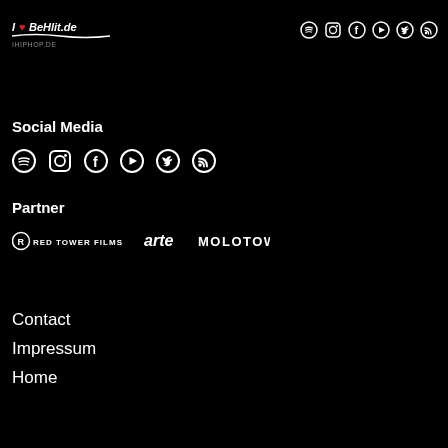[Figure (logo): ILoveHipHop.de logo in white italic handwritten style with red heart element, top left]
[Figure (infographic): Row of social media icons (Spotify, Instagram, Facebook, YouTube, Twitter, RSS) in white circles, top right]
Social Media
[Figure (infographic): Row of social media icons (Spotify, Instagram, Facebook, YouTube, Twitter, RSS) in white circles]
Partner
[Figure (logo): Partner logos: Red Tower Films (circle with R), arte (italic), MOLOTOW (bold caps)]
Contact
Impressum
Home